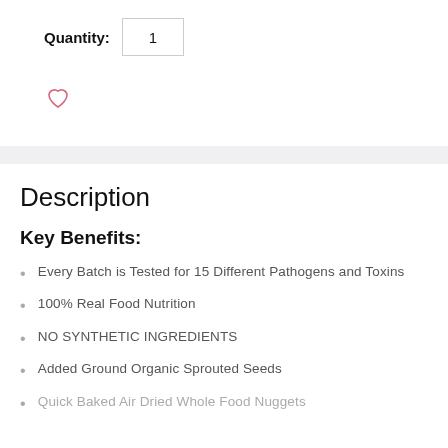Quantity: 1
[Figure (illustration): Heart/wishlist icon outline in pinkish-red color]
Description
Key Benefits:
Every Batch is Tested for 15 Different Pathogens and Toxins
100% Real Food Nutrition
NO SYNTHETIC INGREDIENTS
Added Ground Organic Sprouted Seeds
Quick Baked Air Dried Whole Food Nuggets